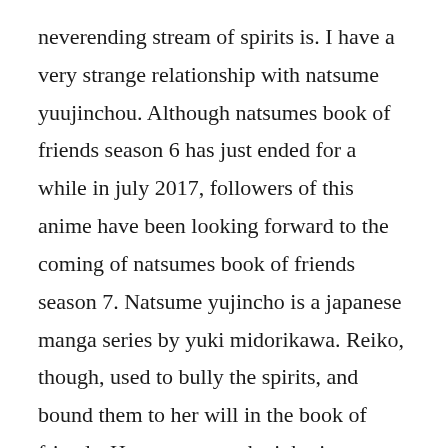neverending stream of spirits is. I have a very strange relationship with natsume yuujinchou. Although natsumes book of friends season 6 has just ended for a while in july 2017, followers of this anime have been looking forward to the coming of natsumes book of friends season 7. Natsume yujincho is a japanese manga series by yuki midorikawa. Reiko, though, used to bully the spirits, and bound them to her will in the book of friends. However, once he inherits a strange book that belonged to his deceased grandmother, reiko, he discovers the secret. Looking for...